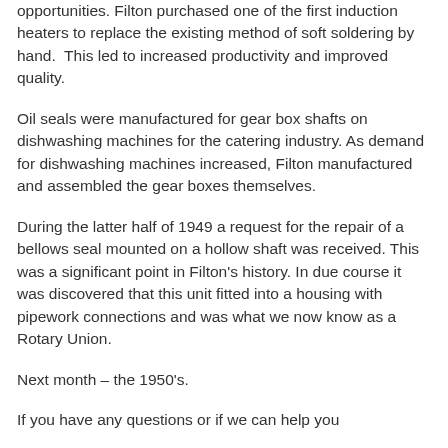opportunities. Filton purchased one of the first induction heaters to replace the existing method of soft soldering by hand.  This led to increased productivity and improved quality.
Oil seals were manufactured for gear box shafts on dishwashing machines for the catering industry. As demand for dishwashing machines increased, Filton manufactured and assembled the gear boxes themselves.
During the latter half of 1949 a request for the repair of a bellows seal mounted on a hollow shaft was received. This was a significant point in Filton's history. In due course it was discovered that this unit fitted into a housing with pipework connections and was what we now know as a Rotary Union.
Next month – the 1950's.
If you have any questions or if we can help you